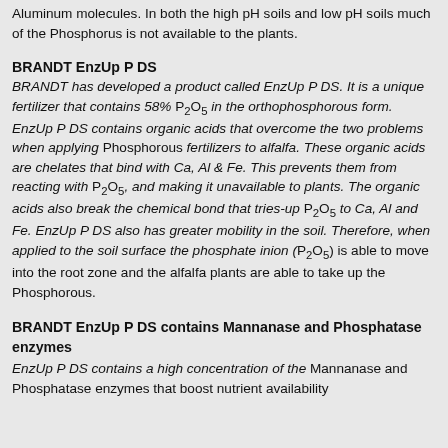Aluminum molecules. In both the high pH soils and low pH soils much of the Phosphorus is not available to the plants.
BRANDT EnzUp P DS
BRANDT has developed a product called EnzUp P DS. It is a unique fertilizer that contains 58% P2O5 in the orthophosphorous form. EnzUp P DS contains organic acids that overcome the two problems when applying Phosphorous fertilizers to alfalfa. These organic acids are chelates that bind with Ca, Al & Fe. This prevents them from reacting with P2O5, and making it unavailable to plants. The organic acids also break the chemical bond that tries-up P2O5 to Ca, Al and Fe. EnzUp P DS also has greater mobility in the soil. Therefore, when applied to the soil surface the phosphate inion (P2O5) is able to move into the root zone and the alfalfa plants are able to take up the Phosphorous.
BRANDT EnzUp P DS contains Mannanase and Phosphatase enzymes
EnzUp P DS contains a high concentration of the Mannanase and Phosphatase enzymes that boost nutrient availability